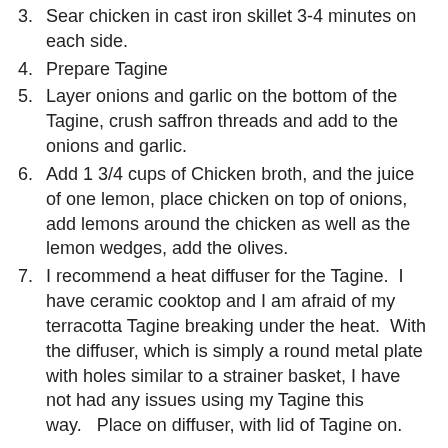3. Sear chicken in cast iron skillet 3-4 minutes on each side.
4. Prepare Tagine
5. Layer onions and garlic on the bottom of the Tagine, crush saffron threads and add to the onions and garlic.
6. Add 1 3/4 cups of Chicken broth, and the juice of one lemon, place chicken on top of onions, add lemons around the chicken as well as the lemon wedges, add the olives.
7. I recommend a heat diffuser for the Tagine.  I have ceramic cooktop and I am afraid of my terracotta Tagine breaking under the heat.  With the diffuser, which is simply a round metal plate with holes similar to a strainer basket, I have not had any issues using my Tagine this way.   Place on diffuser, with lid of Tagine on.